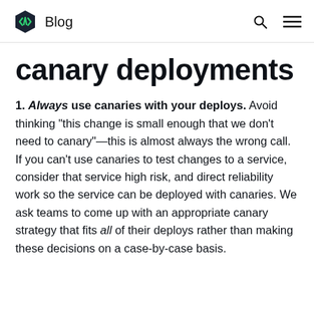Blog
canary deployments
1. Always use canaries with your deploys. Avoid thinking “this change is small enough that we don’t need to canary”—this is almost always the wrong call. If you can't use canaries to test changes to a service, consider that service high risk, and direct reliability work so the service can be deployed with canaries. We ask teams to come up with an appropriate canary strategy that fits all of their deploys rather than making these decisions on a case-by-case basis.